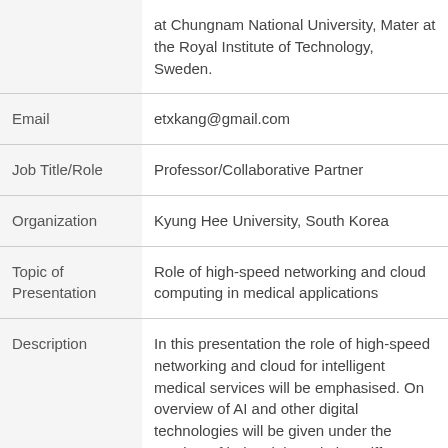| Field | Value |
| --- | --- |
|  | at Chungnam National University, Mater at the Royal Institute of Technology, Sweden. |
| Email | etxkang@gmail.com |
| Job Title/Role | Professor/Collaborative Partner |
| Organization | Kyung Hee University, South Korea |
| Topic of Presentation | Role of high-speed networking and cloud computing in medical applications |
| Description | In this presentation the role of high-speed networking and cloud for intelligent medical services will be emphasised. On overview of AI and other digital technologies will be given under the purview of industrial revolution.Different cloud based healthcare systems are explored |